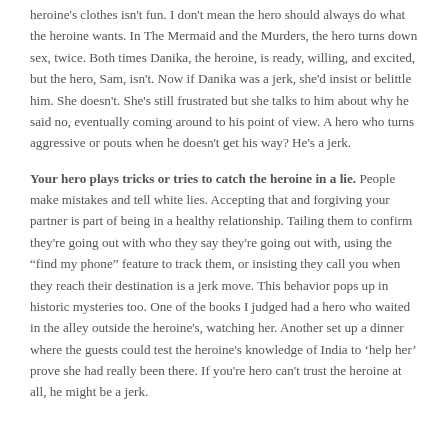heroine's clothes isn't fun. I don't mean the hero should always do what the heroine wants. In The Mermaid and the Murders, the hero turns down sex, twice. Both times Danika, the heroine, is ready, willing, and excited, but the hero, Sam, isn't. Now if Danika was a jerk, she'd insist or belittle him. She doesn't. She's still frustrated but she talks to him about why he said no, eventually coming around to his point of view. A hero who turns aggressive or pouts when he doesn't get his way? He's a jerk.
Your hero plays tricks or tries to catch the heroine in a lie.
People make mistakes and tell white lies. Accepting that and forgiving your partner is part of being in a healthy relationship. Tailing them to confirm they're going out with who they say they're going out with, using the “find my phone” feature to track them, or insisting they call you when they reach their destination is a jerk move. This behavior pops up in historic mysteries too. One of the books I judged had a hero who waited in the alley outside the heroine's, watching her. Another set up a dinner where the guests could test the heroine's knowledge of India to ‘help her' prove she had really been there. If you're hero can't trust the heroine at all, he might be a jerk.